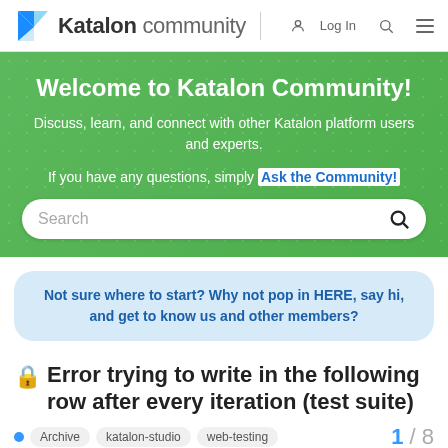Katalon community
Welcome to Katalon Community!
Discuss, learn, and connect with other Katalon platform users and experts.
If you have any questions, simply Ask the Community!
Not sure where to start? Why not pop in HERE, say hi, and get to know us and other members?
🔒 Error trying to write in the following row after every iteration (test suite)
Archive   katalon-studio   web-testing   1 / 8